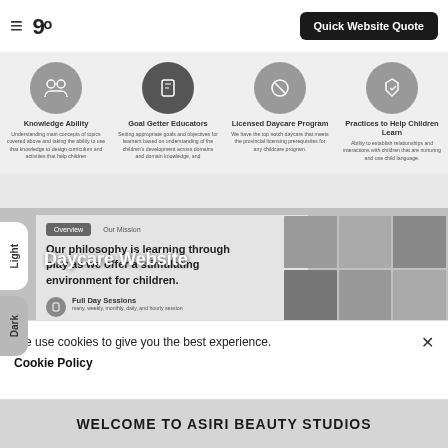Quick Website Quote — navigation bar with hamburger menu and logo
[Figure (screenshot): Four feature icons in circles: Knowledge Ability, Goal Getter Educators, Licensed Daycare Program, Practices to Help Children Learn]
[Figure (screenshot): Daycare website preview with Light/Dark theme toggle, tabs for Overview and Our Mission, headline about learning through play, feature rows for Full Day Sessions, Daycare Program, Preschool Program, and photo grid of children]
Daycare Website
We use cookies to give you the best experience.
Cookie Policy
WELCOME TO ASIRI BEAUTY STUDIOS